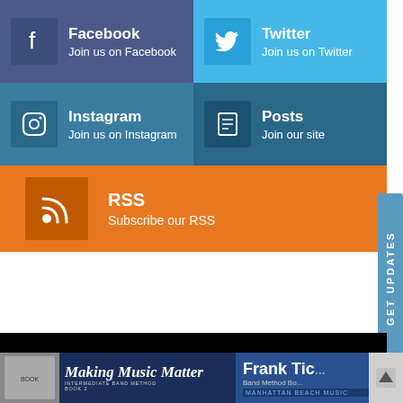[Figure (infographic): Social media links grid: Facebook, Twitter, Instagram, Posts, RSS]
[Figure (logo): BandDirector.com logo on black background]
[Figure (infographic): Bottom advertisement bar: Making Music Matter book, Frank Ticheli, Manhattan Beach Music, with scroll-up button]